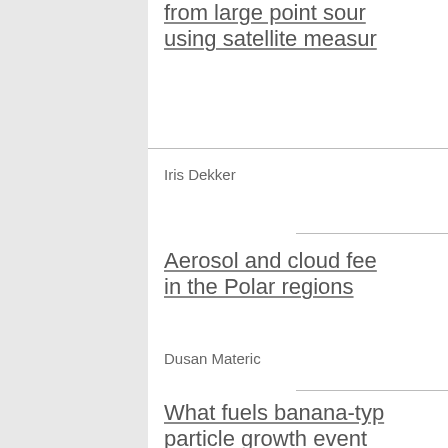from large point sour using satellite measur
Iris Dekker
Aerosol and cloud fee in the Polar regions
Dusan Materic
What fuels banana-typ particle growth event
Using satellite data of